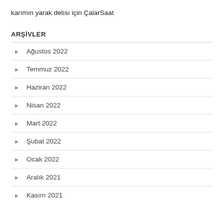karımın yarak delısı için ÇalarSaat
ARŞİVLER
Ağustos 2022
Temmuz 2022
Haziran 2022
Nisan 2022
Mart 2022
Şubat 2022
Ocak 2022
Aralık 2021
Kasım 2021